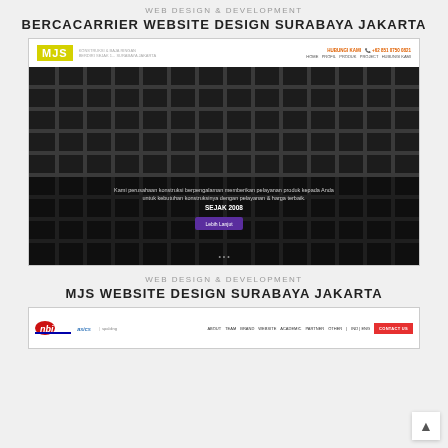WEB DESIGN & DEVELOPMENT
BERCACARRIER WEBSITE DESIGN SURABAYA JAKARTA
[Figure (screenshot): Screenshot of MJS website showing navigation bar with MJS logo and hero section with steel mesh grid background, overlay text about services, 'SEJAK 2008' text, and a purple 'Lebih Lanjut' button]
WEB DESIGN & DEVELOPMENT
MJS WEBSITE DESIGN SURABAYA JAKARTA
[Figure (screenshot): Screenshot of NBI website showing navigation bar with NBI logo, partner logos, nav links, and a red CONTACT US button]